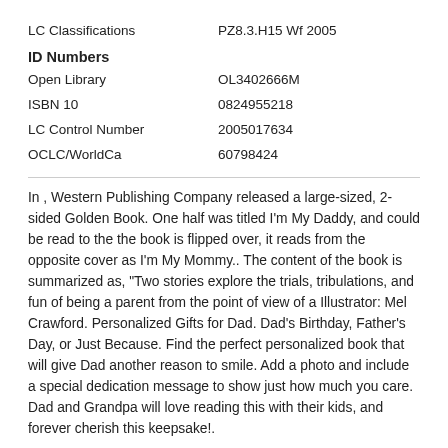| LC Classifications | PZ8.3.H15 Wf 2005 |
ID Numbers
| Open Library | OL3402666M |
| ISBN 10 | 0824955218 |
| LC Control Number | 2005017634 |
| OCLC/WorldCa | 60798424 |
In , Western Publishing Company released a large-sized, 2-sided Golden Book. One half was titled I'm My Daddy, and could be read to the the book is flipped over, it reads from the opposite cover as I'm My Mommy.. The content of the book is summarized as, "Two stories explore the trials, tribulations, and fun of being a parent from the point of view of a Illustrator: Mel Crawford. Personalized Gifts for Dad. Dad's Birthday, Father's Day, or Just Because. Find the perfect personalized book that will give Dad another reason to smile. Add a photo and include a special dedication message to show just how much you care. Dad and Grandpa will love reading this with their kids, and forever cherish this keepsake!.
Sebastien Braun's celebrated I Love My Daddy is now in board book format—perfect for toddlers in strollers and highchairs! Sometimes daddies are loud and playful. Other times they are quiet and compassionate. And they are always loving. Sebastien Braun's